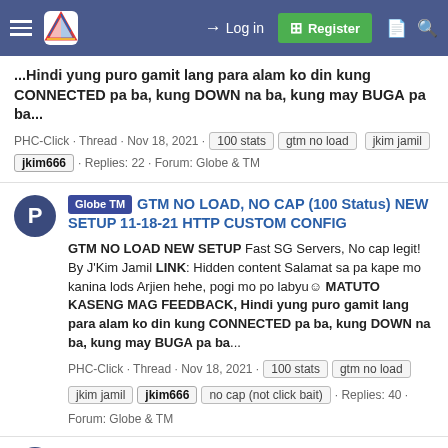Navigation bar with hamburger menu, logo, Login, Register, and search icons
...Hindi yung puro gamit lang para alam ko din kung CONNECTED pa ba, kung DOWN na ba, kung may BUGA pa ba...
PHC-Click · Thread · Nov 18, 2021 · 100 stats · gtm no load · jkim jamil · jkim666 · Replies: 22 · Forum: Globe & TM
GTM NO LOAD, NO CAP (100 Status) NEW SETUP 11-18-21 HTTP CUSTOM CONFIG
GTM NO LOAD NEW SETUP Fast SG Servers, No cap legit! By J'Kim Jamil LINK: Hidden content Salamat sa pa kape mo kanina lods Arjien hehe, pogi mo po labyu☺ MATUTO KASENG MAG FEEDBACK, Hindi yung puro gamit lang para alam ko din kung CONNECTED pa ba, kung DOWN na ba, kung may BUGA pa ba...
PHC-Click · Thread · Nov 18, 2021 · 100 stats · gtm no load · jkim jamil · jkim666 · no cap (not click bait) · Replies: 40 · Forum: Globe & TM